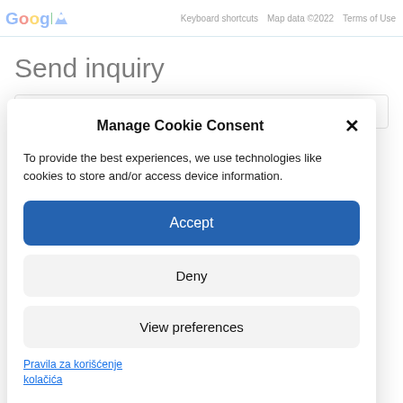Google  Keyboard shortcuts  Map data ©2022  Terms of Use
Send inquiry
Name and Surname
Manage Cookie Consent
To provide the best experiences, we use technologies like cookies to store and/or access device information.
Accept
Deny
View preferences
Pravila za korišćenje kolačića
Privacy policy – Apartmani Beograd – City Break Apartments